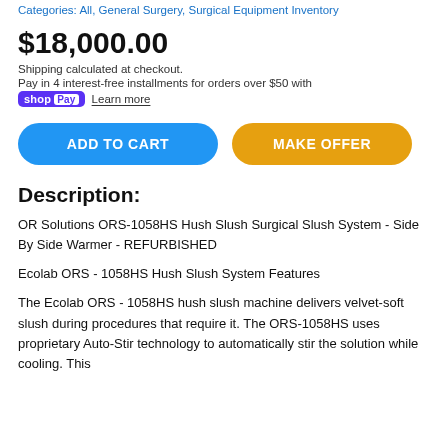Categories: All, General Surgery, Surgical Equipment Inventory
$18,000.00
Shipping calculated at checkout.
Pay in 4 interest-free installments for orders over $50 with shop Pay  Learn more
ADD TO CART   MAKE OFFER
Description:
OR Solutions ORS-1058HS Hush Slush Surgical Slush System - Side By Side Warmer - REFURBISHED
Ecolab ORS - 1058HS Hush Slush System Features
The Ecolab ORS - 1058HS hush slush machine delivers velvet-soft slush during procedures that require it. The ORS-1058HS uses proprietary Auto-Stir technology to automatically stir the solution while cooling. This